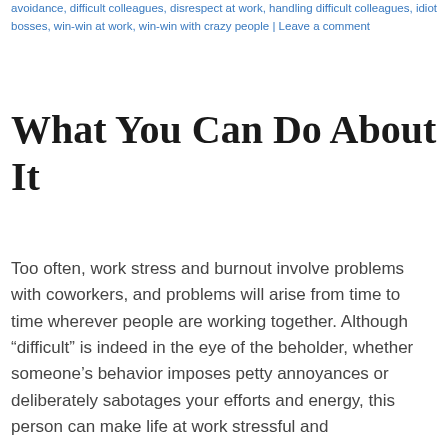avoidance, difficult colleagues, disrespect at work, handling difficult colleagues, idiot bosses, win-win at work, win-win with crazy people | Leave a comment
What You Can Do About It
Too often, work stress and burnout involve problems with coworkers, and problems will arise from time to time wherever people are working together. Although “difficult” is indeed in the eye of the beholder, whether someone’s behavior imposes petty annoyances or deliberately sabotages your efforts and energy, this person can make life at work stressful and